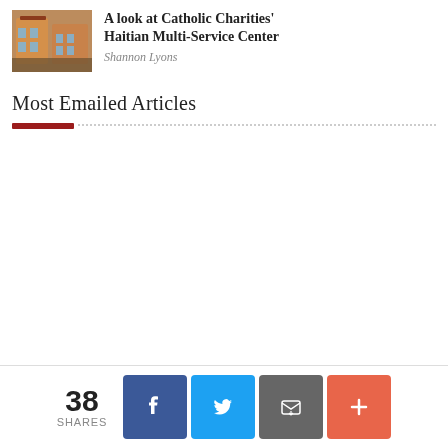[Figure (photo): Thumbnail photo of a building - Catholic Charities Haitian Multi-Service Center]
A look at Catholic Charities' Haitian Multi-Service Center
Shannon Lyons
Most Emailed Articles
38 SHARES
[Figure (infographic): Social share buttons: Facebook, Twitter, Email, Plus]